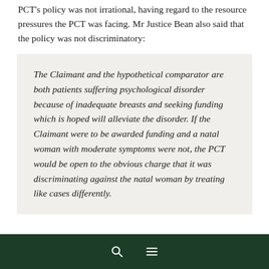PCT's policy was not irrational, having regard to the resource pressures the PCT was facing. Mr Justice Bean also said that the policy was not discriminatory:
The Claimant and the hypothetical comparator are both patients suffering psychological disorder because of inadequate breasts and seeking funding which is hoped will alleviate the disorder. If the Claimant were to be awarded funding and a natal woman with moderate symptoms were not, the PCT would be open to the obvious charge that it was discriminating against the natal woman by treating like cases differently.
Finally, the High Court said that AC could not rely on Article 8 right to respect for private and family life, as it does not extend to impose a positive obligation on an authority to provide...